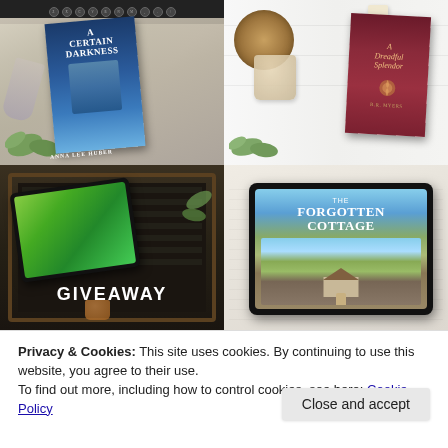[Figure (photo): Four-panel photo grid: top-left shows book 'A Certain Darkness' by Anna Lee Huber with typewriter; top-right shows 'A Dreadful Splendor' book with candle and wood slice; bottom-left shows tablet on letterboard with GIVEAWAY text; bottom-right shows e-reader with 'The Forgotten Cottage' cover.]
Privacy & Cookies: This site uses cookies. By continuing to use this website, you agree to their use.
To find out more, including how to control cookies, see here: Cookie Policy
Close and accept